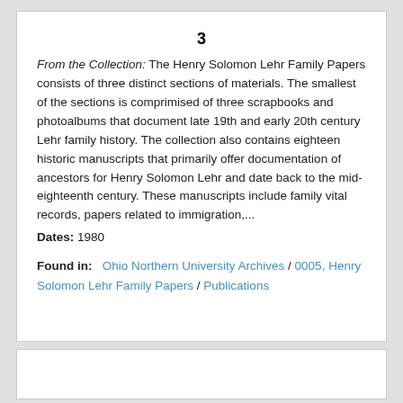3
From the Collection: The Henry Solomon Lehr Family Papers consists of three distinct sections of materials. The smallest of the sections is comprimised of three scrapbooks and photoalbums that document late 19th and early 20th century Lehr family history. The collection also contains eighteen historic manuscripts that primarily offer documentation of ancestors for Henry Solomon Lehr and date back to the mid-eighteenth century. These manuscripts include family vital records, papers related to immigration,...
Dates: 1980
Found in: Ohio Northern University Archives / 0005, Henry Solomon Lehr Family Papers / Publications